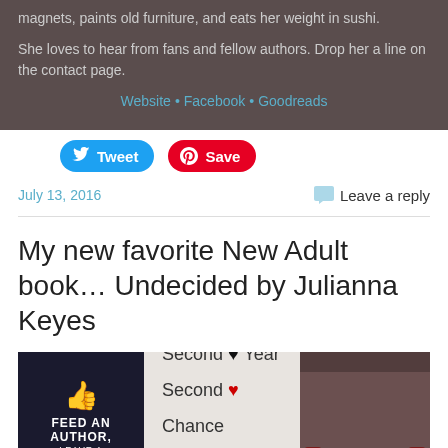magnets, paints old furniture, and eats her weight in sushi.
She loves to hear from fans and fellow authors. Drop her a line on the contact page.
Website • Facebook • Goodreads
[Figure (other): Tweet and Save (Pinterest) social sharing buttons]
July 13, 2016
Leave a reply
My new favorite New Adult book… Undecided by Julianna Keyes
[Figure (illustration): Book promotional image with three panels: Feed An Author Leave a Review badge on left, center text reading Second Year Second Chance Second Thoughts with black and red hearts, couple sitting photo on right]